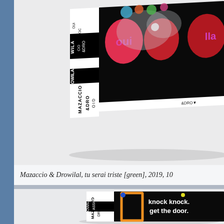[Figure (photo): Artwork photograph: Mazaccio & Drowilal mixed media piece 'tu serai triste [green]' 2019, showing a black rectangular artwork with colorful balloon-like shapes and the words 'oui', 'ou', and other text on black background, mounted on white wall at an angle showing the spine with white and black patterned text including 'MAZACCIO', 'DROWILAL', 'OUI', 'CIO', 'OWILAL' printed vertically.]
Mazaccio & Drowilal, tu serai triste [green], 2019, 10...
[Figure (photo): Artwork photograph: Mazaccio & Drowilal artwork showing a black rectangular piece with white text 'knock knock. get the door.' and an orange door frame graphic, mounted on white wall at angle showing spine with 'MAZACCIO DROWILAL' text.]